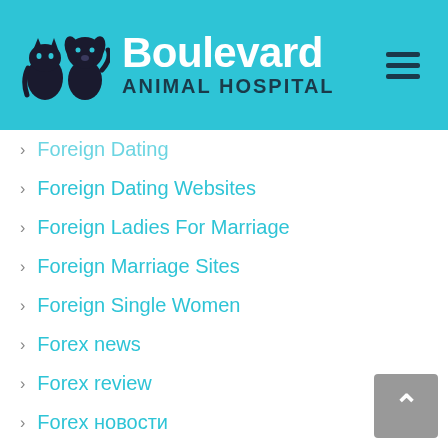[Figure (logo): Boulevard Animal Hospital logo with cat and dog silhouettes on cyan/teal background with hamburger menu icon]
Foreign Dating
Foreign Dating Websites
Foreign Ladies For Marriage
Foreign Marriage Sites
Foreign Single Women
Forex news
Forex review
Forex новости
Frauen Aus Katalog
Game Emulators Roms
Get A Bride
Good Ways To Get Over A Breakup
Gratis DLL